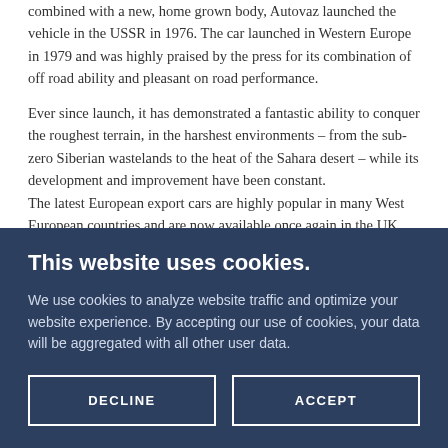combined with a new, home grown body, Autovaz launched the vehicle in the USSR in 1976. The car launched in Western Europe in 1979 and was highly praised by the press for its combination of off road ability and pleasant on road performance.
Ever since launch, it has demonstrated a fantastic ability to conquer the roughest terrain, in the harshest environments – from the sub-zero Siberian wastelands to the heat of the Sahara desert – while its development and improvement have been constant. The latest European export cars are highly popular in many West European countries and are now available once again in the UK. Providing maximum ability with maximum value, there are no
This website uses cookies.
We use cookies to analyze website traffic and optimize your website experience. By accepting our use of cookies, your data will be aggregated with all other user data.
DECLINE
ACCEPT